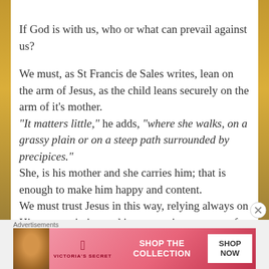If God is with us, who or what can prevail against us?

We must, as St Francis de Sales writes, lean on the arm of Jesus, as the child leans securely on the arm of it's mother.
"It matters little," he adds, "where she walks, on a grassy plain or on a steep path surrounded by precipices."
She, is his mother and she carries him; that is enough to make him happy and content.
We must trust Jesus in this way, relying always on His support in joy and in sorrow, in moments of trial
[Figure (other): Advertisement banner for Victoria's Secret showing a woman model, Victoria's Secret logo with wings, text 'SHOP THE COLLECTION', and a 'SHOP NOW' button]